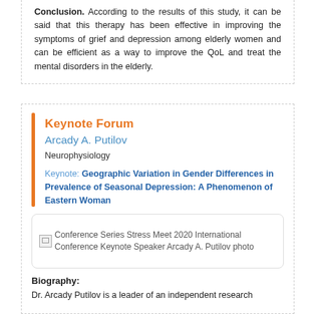Conclusion. According to the results of this study, it can be said that this therapy has been effective in improving the symptoms of grief and depression among elderly women and can be efficient as a way to improve the QoL and treat the mental disorders in the elderly.
Keynote Forum
Arcady A. Putilov
Neurophysiology
Keynote: Geographic Variation in Gender Differences in Prevalence of Seasonal Depression: A Phenomenon of Eastern Woman
[Figure (photo): Conference Series Stress Meet 2020 International Conference Keynote Speaker Arcady A. Putilov photo]
Biography:
Dr. Arcady Putilov is a leader of an independent research